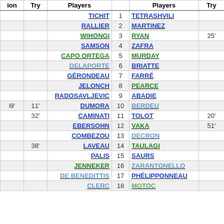| ion | Try | Players |  | Players | Try | Co |
| --- | --- | --- | --- | --- | --- | --- |
|  |  | TICHIT | 1 | TETRASHVILI |  |  |
|  |  | RALLIER | 2 | MARTINEZ |  |  |
|  |  | WIHONGI | 3 | RYAN | 25' |  |
|  |  | SAMSON | 4 | ZAFRA |  |  |
|  |  | CAPO ORTEGA | 5 | MURDAY |  |  |
|  |  | DELAPORTE | 6 | BRIATTE |  |  |
|  |  | GÉRONDEAU | 7 | FARRÉ |  |  |
|  |  | JELONCH | 8 | PEARCE |  |  |
|  |  | RADOSAVLJEVIC | 9 | ABADIE |  |  |
| i9' | 11' | DUMORA | 10 | BERDEU |  | 2 |
|  | 32' | CAMINATI | 11 | TOLOT | 20' |  |
|  |  | EBERSOHN | 12 | VAKA | 51' |  |
|  |  | COMBEZOU | 13 | DECRON |  |  |
|  | 38' | LAVEAU | 14 | TAULAGI |  |  |
|  |  | PALIS | 15 | SAURS |  |  |
|  |  | JENNEKER | 16 | ZARANTONELLO |  |  |
|  |  | DE BENEDITTIS | 17 | PHÉLIPPONNEAU |  |  |
|  |  | CLERC | 18 | MOTOC |  |  |